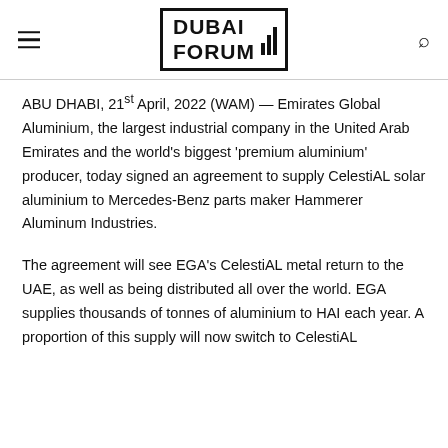DUBAI FORUM
ABU DHABI, 21st April, 2022 (WAM) — Emirates Global Aluminium, the largest industrial company in the United Arab Emirates and the world's biggest 'premium aluminium' producer, today signed an agreement to supply CelestiAL solar aluminium to Mercedes-Benz parts maker Hammerer Aluminum Industries.
The agreement will see EGA's CelestiAL metal return to the UAE, as well as being distributed all over the world. EGA supplies thousands of tonnes of aluminium to HAI each year. A proportion of this supply will now switch to CelestiAL